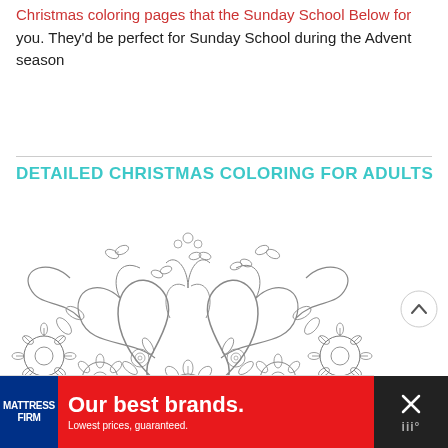Christmas coloring pages that the Sunday School Below for you. They'd be perfect for Sunday School during the Advent season
DETAILED CHRISTMAS COLORING FOR ADULTS
[Figure (illustration): Detailed black and white Christmas floral coloring page illustration featuring intricate flowers, swirls, butterflies, and foliage arranged in a crown-like composition]
[Figure (other): Circular scroll-up navigation button with upward chevron arrow]
Our best brands. Lowest prices, guaranteed.